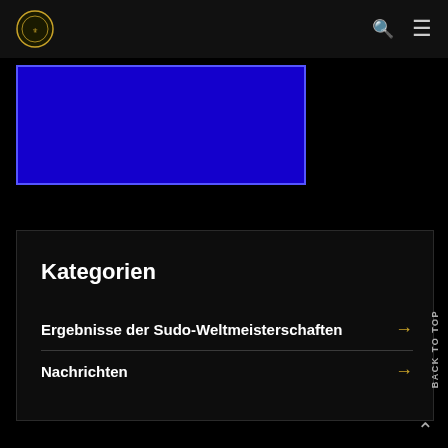Navigation bar with logo, search icon, and menu icon
[Figure (other): Blue rectangle placeholder image with bright blue background and blue border]
Kategorien
Ergebnisse der Sudo-Weltmeisterschaften →
Nachrichten →